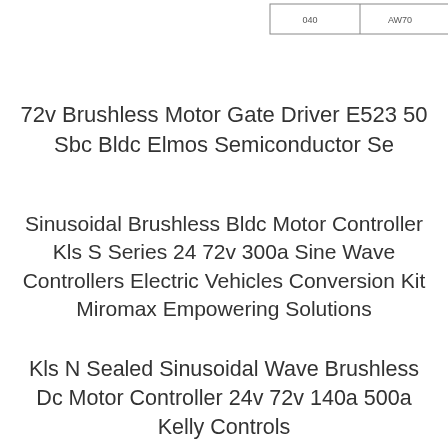[Figure (schematic): Partial schematic/diagram snippet showing a table-like box with labels '040' and 'AW70' visible at top, with lines extending to the right.]
72v Brushless Motor Gate Driver E523 50 Sbc Bldc Elmos Semiconductor Se
Sinusoidal Brushless Bldc Motor Controller Kls S Series 24 72v 300a Sine Wave Controllers Electric Vehicles Conversion Kit Miromax Empowering Solutions
Kls N Sealed Sinusoidal Wave Brushless Dc Motor Controller 24v 72v 140a 500a Kelly Controls